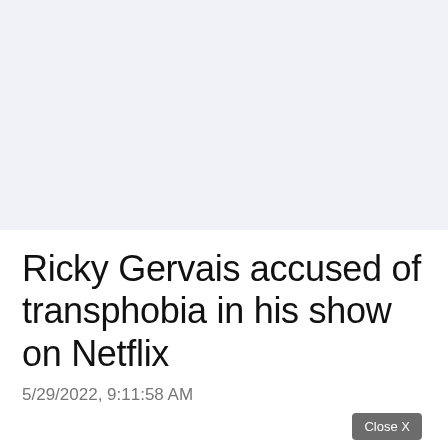[Figure (other): Light gray/blue banner area at top of page, likely an advertisement placeholder]
Ricky Gervais accused of transphobia in his show on Netflix
5/29/2022, 9:11:58 AM
Close X
[Figure (other): Social sharing buttons row: Facebook (blue), Twitter (light blue), Email (gray), Reddit (blue), Hacker News Y (orange)]